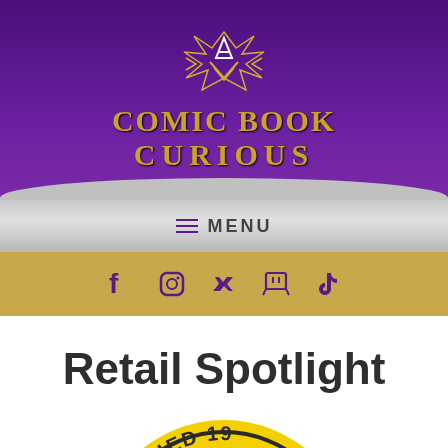[Figure (logo): Comic Book Curious logo on purple banner background with gold geometric/abstract symbol above the text 'COMIC BOOK CURIOUS']
MENU
[Figure (infographic): Gold social media bar with icons for Facebook, Instagram, Twitter, Twitch, and TikTok in purple]
Retail Spotlight
[Figure (logo): Partially visible circular badge/logo with yellow background and text 'ESTABLISHED 19...' with red and dark design elements]